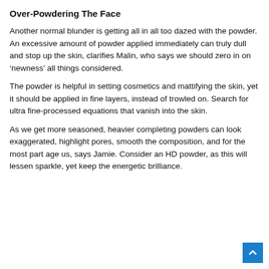Over-Powdering The Face
Another normal blunder is getting all in all too dazed with the powder. An excessive amount of powder applied immediately can truly dull and stop up the skin, clarifies Malin, who says we should zero in on ‘newness’ all things considered.
The powder is helpful in setting cosmetics and mattifying the skin, yet it should be applied in fine layers, instead of trowled on. Search for ultra fine-processed equations that vanish into the skin.
As we get more seasoned, heavier completing powders can look exaggerated, highlight pores, smooth the composition, and for the most part age us, says Jamie. Consider an HD powder, as this will lessen sparkle, yet keep the energetic brilliance.